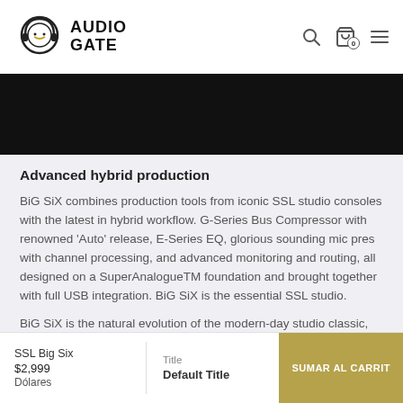Audio Gate
[Figure (photo): Black banner image area at top of product page]
Advanced hybrid production
BiG SiX combines production tools from iconic SSL studio consoles with the latest in hybrid workflow. G-Series Bus Compressor with renowned 'Auto' release, E-Series EQ, glorious sounding mic pres with channel processing, and advanced monitoring and routing, all designed on a SuperAnalogueTM foundation and brought together with full USB integration. BiG SiX is the essential SSL studio.
BiG SiX is the natural evolution of the modern-day studio classic, SiX. Incorporating feedback from a wide range of
SSL Big Six
$2,999
Dólares
Title
Default Title
SUMAR AL CARRIT